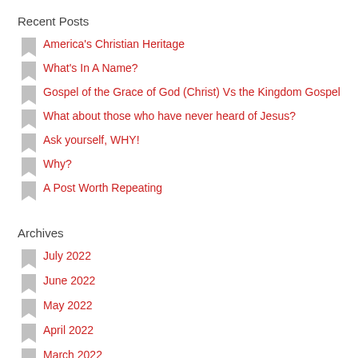Recent Posts
America's Christian Heritage
What's In A Name?
Gospel of the Grace of God (Christ) Vs the Kingdom Gospel
What about those who have never heard of Jesus?
Ask yourself, WHY!
Why?
A Post Worth Repeating
Archives
July 2022
June 2022
May 2022
April 2022
March 2022